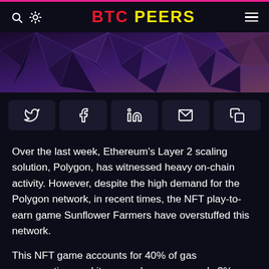BTC PEERS
[Figure (photo): Dark geometric polygon/geodesic dome surface, blue-purple tones]
[Figure (infographic): Social share buttons row: Twitter, Facebook, LinkedIn, Email, Copy]
Over the last week, Ethereum's Layer 2 scaling solution, Polygon, has witnessed heavy on-chain activity. However, despite the high demand for the Polygon network, in recent times, the NFT play-to-earn game Sunflower Farmers have overstuffed this network.
This NFT game accounts for 40% of gas consumption, and its second consumes only 3% gas. As of the end of